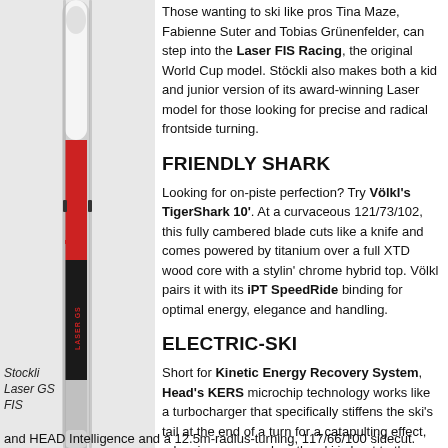[Figure (photo): Stöckli Laser GS FIS ski leaning vertically, showing the ski's profile with red and white graphics]
Stockli Laser GS FIS
Those wanting to ski like pros Tina Maze, Fabienne Suter and Tobias Grünenfelder, can step into the Laser FIS Racing, the original World Cup model. Stöckli also makes both a kid and junior version of its award-winning Laser model for those looking for precise and radical frontside turning.
FRIENDLY SHARK
Looking for on-piste perfection? Try Völkl's TigerShark 10'. At a curvaceous 121/73/102, this fully cambered blade cuts like a knife and comes powered by titanium over a full XTD wood core with a stylin' chrome hybrid top. Völkl pairs it with its iPT SpeedRide binding for optimal energy, elegance and handling.
ELECTRIC-SKI
Short for Kinetic Energy Recovery System, Head's KERS microchip technology works like a turbocharger that specifically stiffens the ski's tail at the end of a turn for a catapulting effect, releasing energy when the ski is bent to the max. It's worked for the likes of Ligety, Svindal, Riesch and Vonn. And the result comes to you: noticeably more edge pressure, more speed and less effort in every turn. In 2011-12, expert skiers can look forward to riding the new fast-turning Worldcup i.SL RD, equipped with both KERS and HEAD Intelligence and a 12.5m-radius-turning, 117/66/100 sidecut.